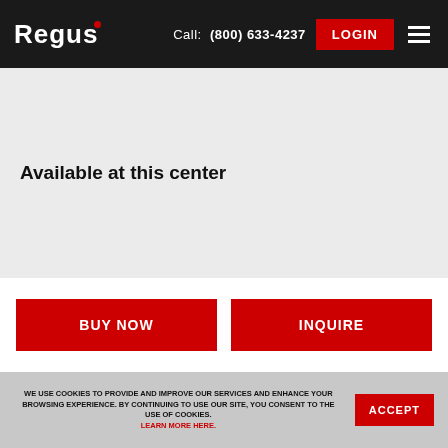Regus | Call: (800) 633-4237 | LOGIN
Available at this center
BUY NOW
INQUIRE
WE USE COOKIES TO PROVIDE AND IMPROVE OUR SERVICES AND ENHANCE YOUR BROWSING EXPERIENCE. BY CONTINUING TO USE OUR SITE, YOU CONSENT TO THE USE OF COOKIES. LEARN MORE HERE.
ACCEPT